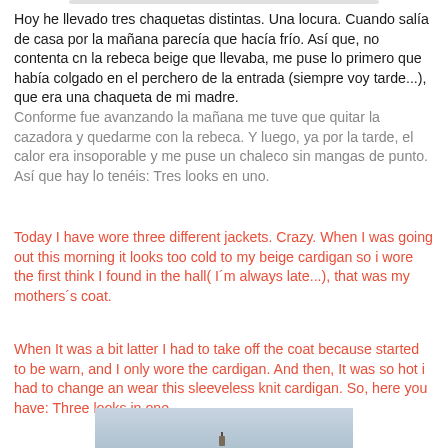Hoy he llevado tres chaquetas distintas. Una locura. Cuando salía de casa por la mañana parecía que hacía frío. Así que, no contenta cn la rebeca beige que llevaba, me puse lo primero que había colgado en el perchero de la entrada (siempre voy tarde...), que era una chaqueta de mi madre. Conforme fue avanzando la mañana me tuve que quitar la cazadora y quedarme con la rebeca. Y luego, ya por la tarde, el calor era insoporable y me puse un chaleco sin mangas de punto. Así que hay lo tenéis: Tres looks en uno.
Today I have wore three different jackets. Crazy. When I was going out this morning it looks too cold to my beige cardigan so i wore the first think I found in the hall( I´m always late...), that was my mothers´s coat.
When It was a bit latter I had to take off the coat because started to be warn, and I only wore the cardigan. And then, It was so hot i had to change an wear this sleeveless knit cardigan. So, here you have: Three looks in one.
[Figure (photo): Photo showing a person or figure outdoors against a light blue/grey sky background]